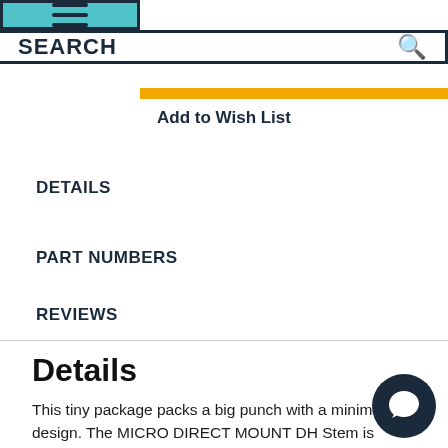SEARCH
Add to Wish List
DETAILS
PART NUMBERS
REVIEWS
Details
This tiny package packs a big punch with a minimal design. The MICRO DIRECT MOUNT DH Stem is strong enough to carry the DEITY name while touting one of the lightest designs in the world. There isn't any wasted space on this moto-inspired 4-piece design, but don't let that fool you. Its